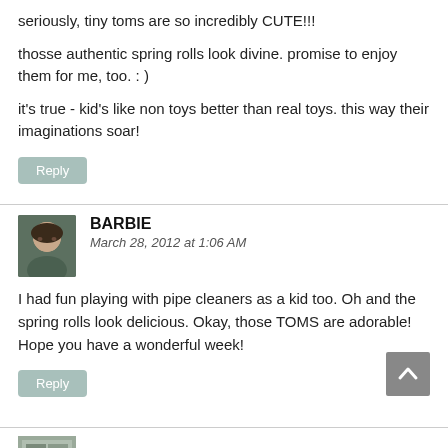seriously, tiny toms are so incredibly CUTE!!!
thosse authentic spring rolls look divine. promise to enjoy them for me, too. : )
it's true - kid's like non toys better than real toys. this way their imaginations soar!
Reply
BARBIE
March 28, 2012 at 1:06 AM
I had fun playing with pipe cleaners as a kid too. Oh and the spring rolls look delicious. Okay, those TOMS are adorable! Hope you have a wonderful week!
Reply
rosen